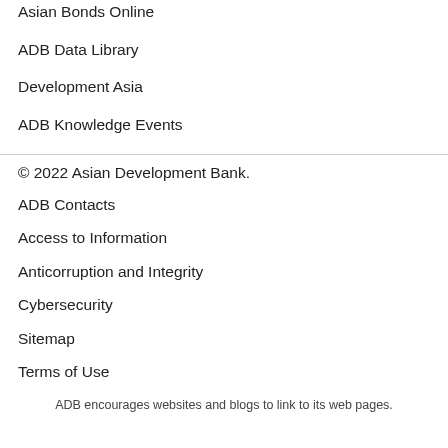Asian Bonds Online
ADB Data Library
Development Asia
ADB Knowledge Events
© 2022 Asian Development Bank.
ADB Contacts
Access to Information
Anticorruption and Integrity
Cybersecurity
Sitemap
Terms of Use
ADB encourages websites and blogs to link to its web pages.